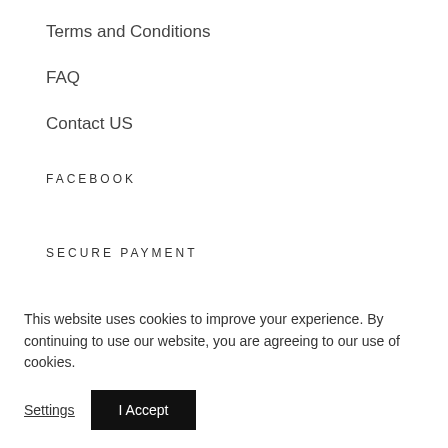Terms and Conditions
FAQ
Contact US
FACEBOOK
SECURE PAYMENT
This website uses cookies to improve your experience. By continuing to use our website, you are agreeing to our use of cookies.
Settings  I Accept